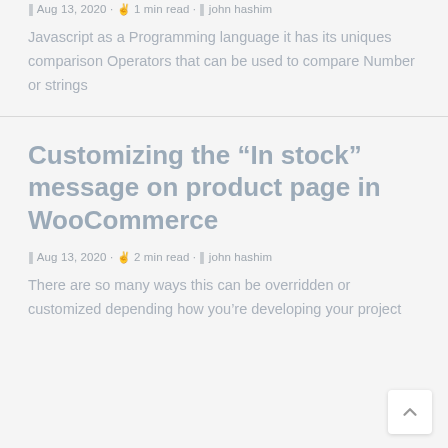|| Aug 13, 2020 · ☞ 1 min read · || john hashim
Javascript as a Programming language it has its uniques comparison Operators that can be used to compare Number or strings
Customizing the “In stock” message on product page in WooCommerce
|| Aug 13, 2020 · ☞ 2 min read · || john hashim
There are so many ways this can be overridden or customized depending how you’re developing your project